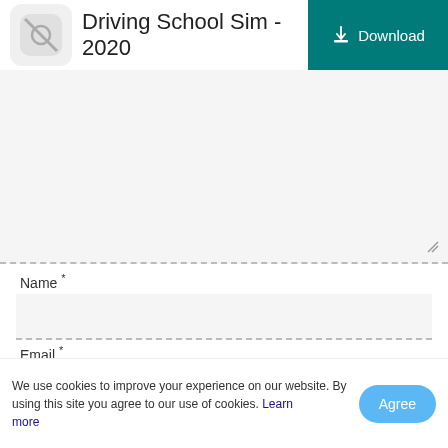Driving School Sim - 2020
[Figure (screenshot): A large grey textarea/input box for review text, with a dashed bottom border and a resize handle in the bottom-right corner]
Name *
[Figure (screenshot): Name input field with grey background and dashed bottom border]
Email *
[Figure (screenshot): Email input field with grey background and dashed bottom border]
[Figure (screenshot): Teal submit button bar]
We use cookies to improve your experience on our website. By using this site you agree to our use of cookies. Learn more